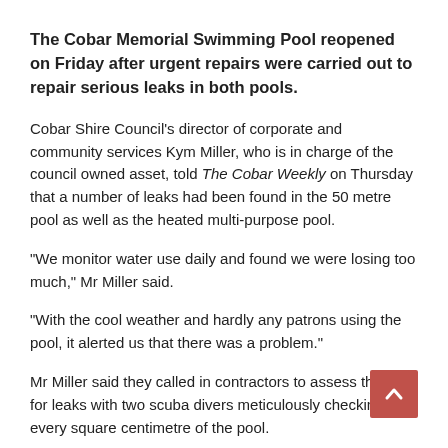The Cobar Memorial Swimming Pool reopened on Friday after urgent repairs were carried out to repair serious leaks in both pools.
Cobar Shire Council's director of corporate and community services Kym Miller, who is in charge of the council owned asset, told The Cobar Weekly on Thursday that a number of leaks had been found in the 50 metre pool as well as the heated multi-purpose pool.
“We monitor water use daily and found we were losing too much,” Mr Miller said.
“With the cool weather and hardly any patrons using the pool, it alerted us that there was a problem.”
Mr Miller said they called in contractors to assess the pool for leaks with two scuba divers meticulously checking every square centimetre of the pool.